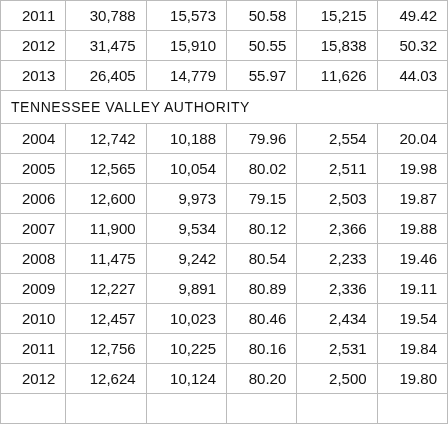| Year | Total | Col1 | Col1% | Col2 | Col2% |
| --- | --- | --- | --- | --- | --- |
| 2011 | 30,788 | 15,573 | 50.58 | 15,215 | 49.42 |
| 2012 | 31,475 | 15,910 | 50.55 | 15,838 | 50.32 |
| 2013 | 26,405 | 14,779 | 55.97 | 11,626 | 44.03 |
| TENNESSEE VALLEY AUTHORITY |  |  |  |  |  |
| 2004 | 12,742 | 10,188 | 79.96 | 2,554 | 20.04 |
| 2005 | 12,565 | 10,054 | 80.02 | 2,511 | 19.98 |
| 2006 | 12,600 | 9,973 | 79.15 | 2,503 | 19.87 |
| 2007 | 11,900 | 9,534 | 80.12 | 2,366 | 19.88 |
| 2008 | 11,475 | 9,242 | 80.54 | 2,233 | 19.46 |
| 2009 | 12,227 | 9,891 | 80.89 | 2,336 | 19.11 |
| 2010 | 12,457 | 10,023 | 80.46 | 2,434 | 19.54 |
| 2011 | 12,756 | 10,225 | 80.16 | 2,531 | 19.84 |
| 2012 | 12,624 | 10,124 | 80.20 | 2,500 | 19.80 |